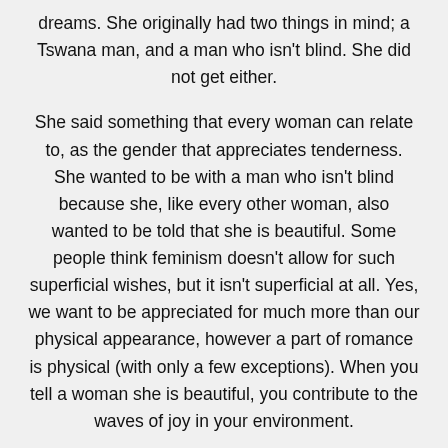dreams. She originally had two things in mind; a Tswana man, and a man who isn't blind. She did not get either.
She said something that every woman can relate to, as the gender that appreciates tenderness. She wanted to be with a man who isn't blind because she, like every other woman, also wanted to be told that she is beautiful. Some people think feminism doesn't allow for such superficial wishes, but it isn't superficial at all. Yes, we want to be appreciated for much more than our physical appearance, however a part of romance is physical (with only a few exceptions). When you tell a woman she is beautiful, you contribute to the waves of joy in your environment.
Nas is A 26-year-old single mother and LLB student who is visually impaired, living with her mother, two-year-old daughter and older brother in a township. Nas is the Chairperson of the South African Blind Youth Organization and has spent the